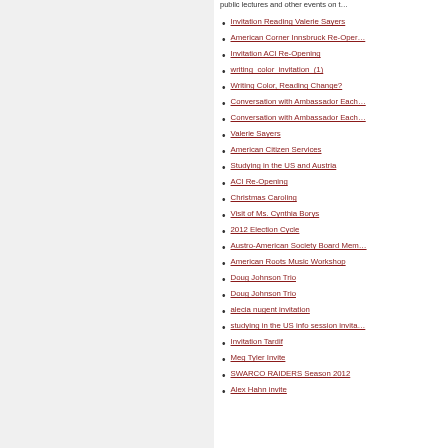public lectures and other events on t…
Invitation Reading Valerie Sayers
American Corner Innsbruck Re-Oper…
Invitation ACI Re-Opening
writing_color_invitation_(1)
Writing Color, Reading Change?
Conversation with Ambassador Each…
Conversation with Ambassador Each…
Valerie Sayers
American Citizen Services
Studying in the US and Austria
ACI Re-Opening
Christmas Caroling
Visit of Ms. Cynthia Borys
2012 Election Cycle
Austro-American Society Board Mem…
American Roots Music Workshop
Doug Johnson Trio
Doug Johnson Trio
alecia nugent invitation
studying in the US info session invita…
Invitation Tardif
Meg Tyler Invite
SWARCO RAIDERS Season 2012
Alex Hahn invite